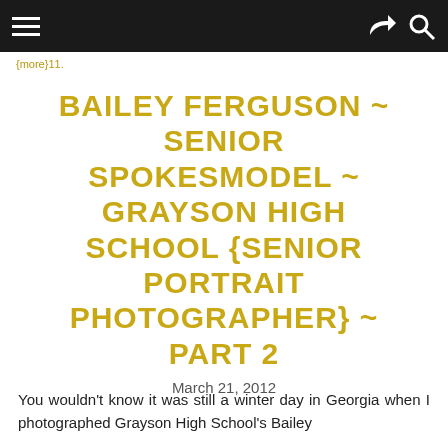Navigation bar with hamburger menu and share/search icons
{more}11.
BAILEY FERGUSON ~ SENIOR SPOKESMODEL ~ GRAYSON HIGH SCHOOL {SENIOR PORTRAIT PHOTOGRAPHER} ~ PART 2
March 21, 2012
You wouldn't know it was still a winter day in Georgia when I photographed Grayson High School's Bailey